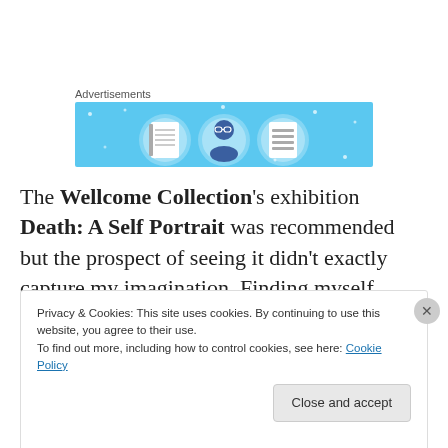Advertisements
[Figure (illustration): Advertisement banner with light blue background showing three circular icons: a notebook/document, a person wearing glasses, and a list/document, with small star/sparkle decorations]
The Wellcome Collection's exhibition Death: A Self Portrait was recommended but the prospect of seeing it didn't exactly capture my imagination. Finding myself nearby with spare time, I ventured forth to find it quite
Privacy & Cookies: This site uses cookies. By continuing to use this website, you agree to their use.
To find out more, including how to control cookies, see here: Cookie Policy
Close and accept